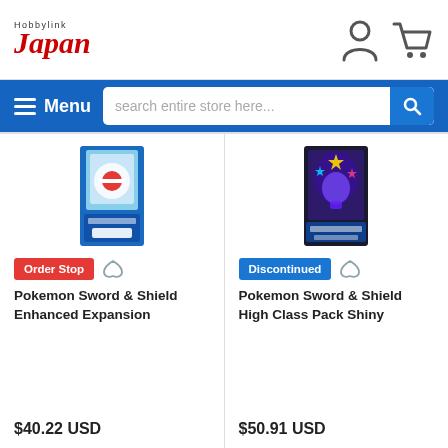HobbylinkJapan
Menu | search entire store here...
[Figure (photo): Pokemon Sword & Shield Enhanced Expansion booster box product image]
Order Stop
Pokemon Sword & Shield Enhanced Expansion
$40.22 USD
[Figure (photo): Pokemon Sword & Shield High Class Pack Shiny booster box product image]
Discontinued
Pokemon Sword & Shield High Class Pack Shiny
$50.91 USD